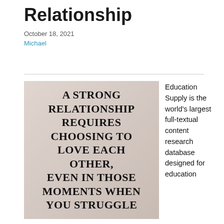Relationship
October 18, 2021
Michael
[Figure (illustration): Motivational quote on a textured pinkish-white stone background: 'A STRONG RELATIONSHIP REQUIRES CHOOSING TO LOVE EACH OTHER, EVEN IN THOSE MOMENTS WHEN YOU STRUGGLE']
Education Supply is the world's largest full-textual content research database designed for education